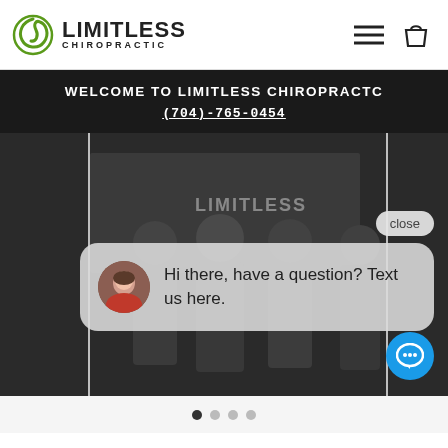[Figure (logo): Limitless Chiropractic logo with green swirl circle and bold text]
[Figure (illustration): Hamburger menu icon and shopping bag icon in header]
WELCOME TO LIMITLESS CHIROPRACTIC
(704)-765-0454
[Figure (photo): Dark background photo showing people in front of a Limitless banner with chat widget overlay showing 'Hi there, have a question? Text us here.' and a close button and blue chat bubble button]
[Figure (other): Slide navigation dots: 4 dots with first one active (filled dark), others light gray]